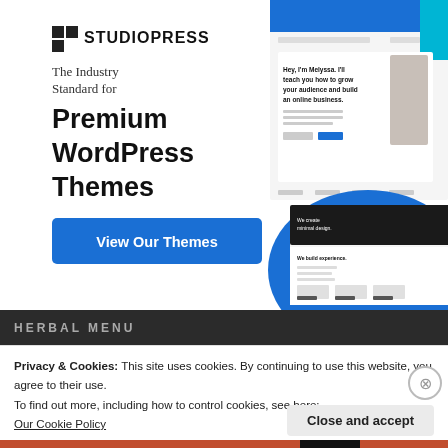[Figure (screenshot): StudioPress advertisement banner showing logo, tagline 'The Industry Standard for Premium WordPress Themes', a blue CTA button 'View Our Themes', and website theme mockup screenshots on the right side]
Privacy & Cookies: This site uses cookies. By continuing to use this website, you agree to their use.
To find out more, including how to control cookies, see here:
Our Cookie Policy
Close and accept